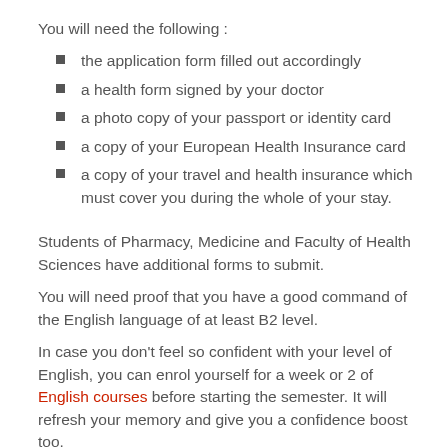You will need the following :
the application form filled out accordingly
a health form signed by your doctor
a photo copy of your passport or identity card
a copy of your European Health Insurance card
a copy of your travel and health insurance which must cover you during the whole of your stay.
Students of Pharmacy, Medicine and Faculty of Health Sciences have additional forms to submit.
You will need proof that you have a good command of the English language of at least B2 level.
In case you don't feel so confident with your level of English, you can enrol yourself for a week or 2 of English courses before starting the semester. It will refresh your memory and give you a confidence boost too.